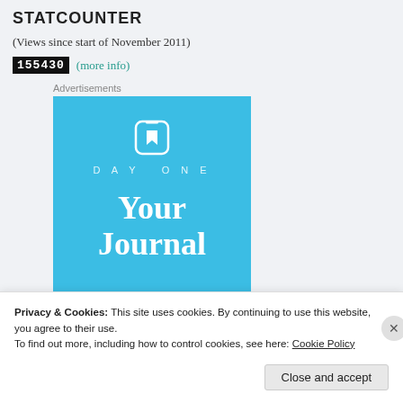STATCOUNTER
(Views since start of November 2011)
155430 (more info)
Advertisements
[Figure (illustration): DayOne app advertisement banner with sky-blue background, white bookmark icon, DAYONE text, and 'Your Journal' text]
Privacy & Cookies: This site uses cookies. By continuing to use this website, you agree to their use.
To find out more, including how to control cookies, see here: Cookie Policy
Close and accept